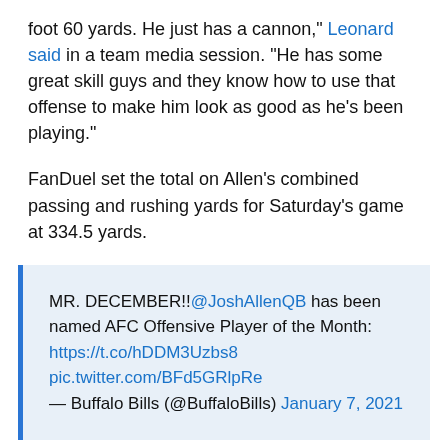foot 60 yards. He just has a cannon," Leonard said in a team media session. "He has some great skill guys and they know how to use that offense to make him look as good as he's been playing."
FanDuel set the total on Allen's combined passing and rushing yards for Saturday's game at 334.5 yards.
MR. DECEMBER!!@JoshAllenQB has been named AFC Offensive Player of the Month: https://t.co/hDDM3Uzbs8 pic.twitter.com/BFd5GRlpRe — Buffalo Bills (@BuffaloBills) January 7, 2021
It dit will b t St f Ri f